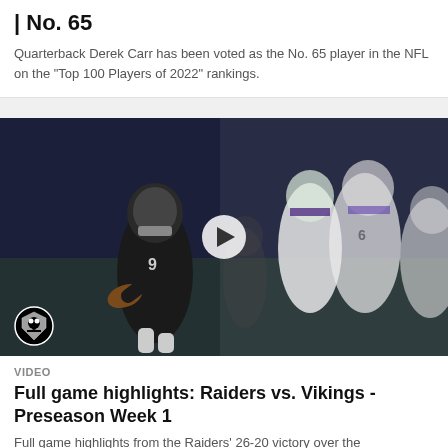| No. 65
Quarterback Derek Carr has been voted as the No. 65 player in the NFL on the "Top 100 Players of 2022" rankings.
[Figure (photo): Football game photo showing a Raiders quarterback wearing jersey number 9 preparing to throw a pass, with Vikings defenders in white and purple uniforms in the background. A Raiders logo is visible in the bottom left corner. A play button overlay is centered on the image.]
VIDEO
Full game highlights: Raiders vs. Vikings - Preseason Week 1
Full game highlights from the Raiders' 26-20 victory over the